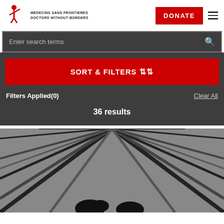[Figure (logo): Médecins Sans Frontières / Doctors Without Borders logo with red figure icon and organization name]
DONATE
Enter search terms
SORT & FILTERS
Filters Applied(0)
Clear All
36 results
[Figure (photo): Black and white photograph showing diagonal lines/rails converging to a vanishing point with silhouettes of plants at the bottom]